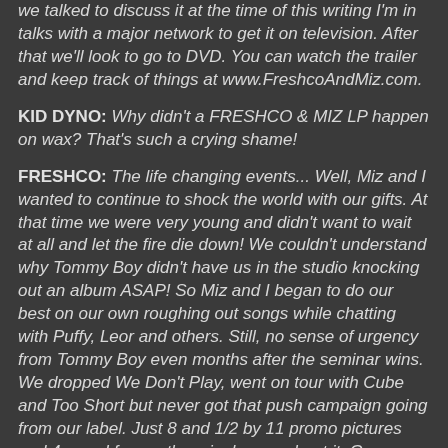we talked to discuss it at the time of this writing I'm in talks with a major network to get it on television. After that we'll look to go to DVD. You can watch the trailer and keep track of things at www.FreshcoAndMiz.com.
KID DYNO: Why didn't a FRESHCO & MIZ LP happen on wax? That's such a crying shame!
FRESHCO: The life changing events... Well, Miz and I wanted to continue to shock the world with our gifts. At that time we were very young and didn't want to wait at all and let the fire die down! We couldn't understand why Tommy Boy didn't have us in the studio knocking out an album ASAP! So Miz and I began to do our best on our own roughing out songs while chatting with Puffy, Leor and others. Still, no sense of urgency from Tommy Boy even months after the seminar wins. We dropped We Don't Play, went on tour with Cube and Too Short but never got that push campaign going from our label. Just 8 and 1/2 by 11 promo pictures and 4 grand for another single was about it. Guess what happens without proper promotion? The results remain street supremacy with no radio dominance! Eventually we were dropped from the label. We remained the illest artist out...